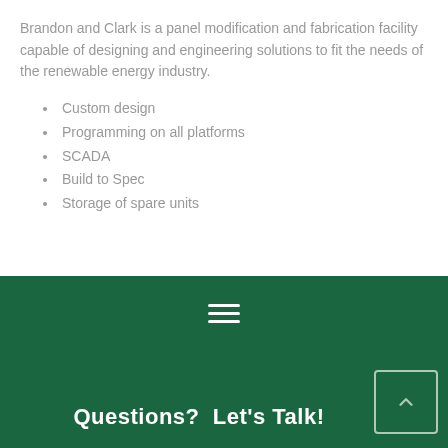Brandon and Clark is a panel modification and fabrication facility capable of designing and engineering solutions to fit the needs of the renewable energy industry.
Custom design
Programming on all platforms
SCADA
Build to Spec
Storage of spare units
Questions?  Let's Talk!